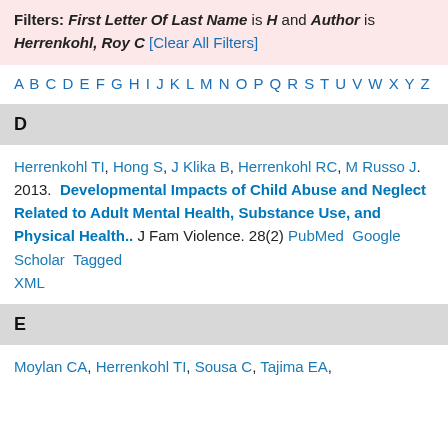Filters: First Letter Of Last Name is H and Author is Herrenkohl, Roy C [Clear All Filters]
A B C D E F G H I J K L M N O P Q R S T U V W X Y Z
D
Herrenkohl TI, Hong S, J Klika B, Herrenkohl RC, M Russo J. 2013. Developmental Impacts of Child Abuse and Neglect Related to Adult Mental Health, Substance Use, and Physical Health.. J Fam Violence. 28(2) PubMed Google Scholar Tagged XML
E
Moylan CA, Herrenkohl TI, Sousa C, Tajima EA,